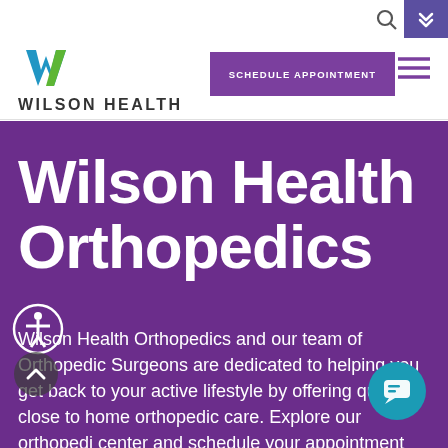[Figure (logo): Wilson Health logo with W icon in blue and green, and text WILSON HEALTH]
[Figure (other): Schedule Appointment purple button, hamburger menu icon, and search icon in header navigation]
Wilson Health Orthopedics
Wilson Health Orthopedics and our team of Orthopedic Surgeons are dedicated to helping you get back to your active lifestyle by offering quality, close to home orthopedic care. Explore our orthopedic center and schedule your appointment